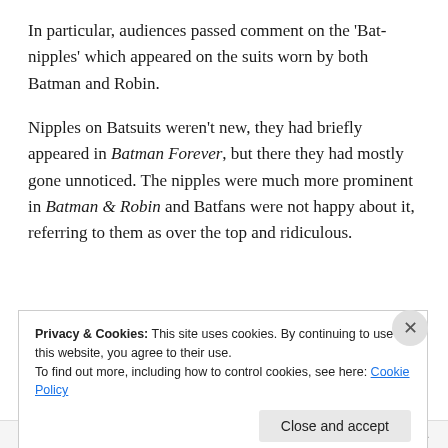In particular, audiences passed comment on the 'Bat-nipples' which appeared on the suits worn by both Batman and Robin.
Nipples on Batsuits weren't new, they had briefly appeared in Batman Forever, but there they had mostly gone unnoticed. The nipples were much more prominent in Batman & Robin and Batfans were not happy about it, referring to them as over the top and ridiculous.
Advertisements
AUTOMATTIC
Build a better web and a better world.
Privacy & Cookies: This site uses cookies. By continuing to use this website, you agree to their use.
To find out more, including how to control cookies, see here: Cookie Policy
Close and accept